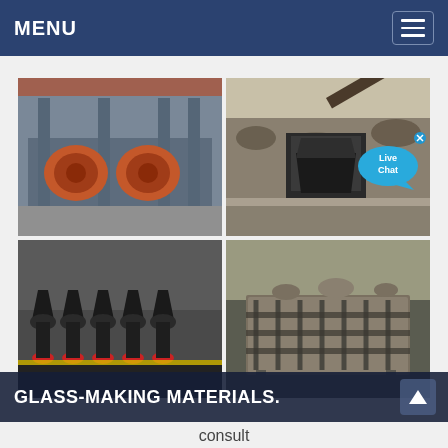MENU
[Figure (photo): Four-panel industrial equipment photo grid: top-left shows orange sand washing machines in a factory; top-right shows a jaw crusher in an outdoor quarry with a 'Live Chat' bubble overlay; bottom-left shows multiple cone crushers with red bases in a warehouse; bottom-right shows a vibrating feeder/grizzly in a quarry setting.]
GLASS-MAKING MATERIALS.
consult